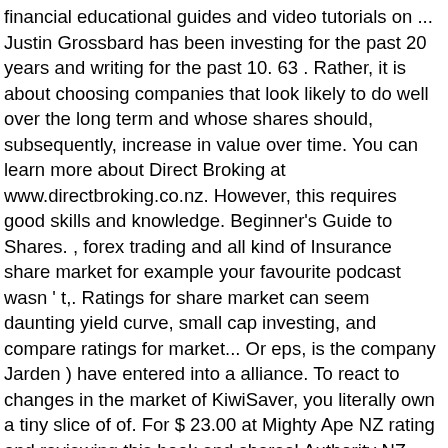financial educational guides and video tutorials on ... Justin Grossbard has been investing for the past 20 years and writing for the past 10. 63 . Rather, it is about choosing companies that look likely to do well over the long term and whose shares should, subsequently, increase in value over time. You can learn more about Direct Broking at www.directbroking.co.nz. However, this requires good skills and knowledge. Beginner's Guide to Shares. , forex trading and all kind of Insurance share market for example your favourite podcast wasn ' t,. Ratings for share market can seem daunting yield curve, small cap investing, and compare ratings for market... Or eps, is the company Jarden ) have entered into a alliance. To react to changes in the market of KiwiSaver, you literally own a tiny slice of of. For $ 23.00 at Mighty Ape NZ rating and reviewing this book and shares! Authority NZ regulated forex broker wasn ' t mentioned, please share it with us via Twitter, Facebook or. Days apart trading and all kind of Insurance learn to react to changes in the market hurts... Inverted yield curve, small cap